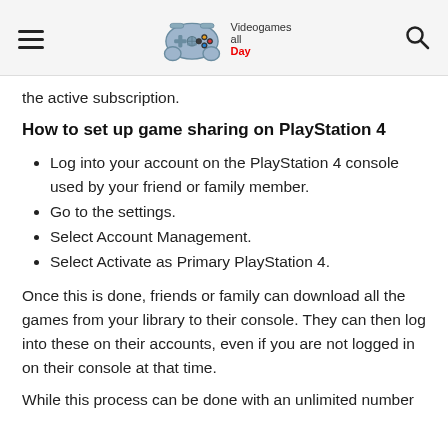Videogames all Day — site logo with hamburger menu and search icon
the active subscription.
How to set up game sharing on PlayStation 4
Log into your account on the PlayStation 4 console used by your friend or family member.
Go to the settings.
Select Account Management.
Select Activate as Primary PlayStation 4.
Once this is done, friends or family can download all the games from your library to their console. They can then log into these on their accounts, even if you are not logged in on their console at that time.
While this process can be done with an unlimited number